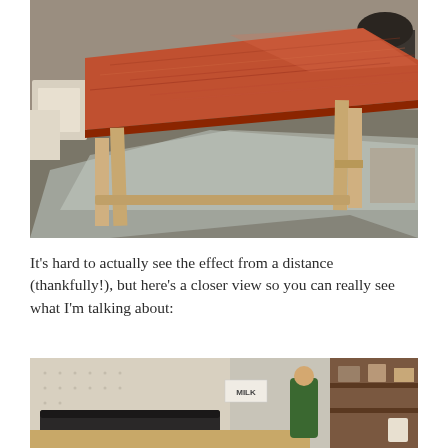[Figure (photo): A wooden dining table with a reddish-brown top and light-colored legs, sitting on a plastic drop cloth in a workshop or garage setting. The tabletop has prominent wood grain and figure. Various workshop items visible in background.]
It's hard to actually see the effect from a distance (thankfully!), but here's a closer view so you can really see what I'm talking about:
[Figure (photo): A closer view of a workshop/garage interior showing shelving, tools, storage bins, a pegboard wall, and a person in a green jacket. A sign reading 'MILK' is visible on the wall. The table is partially visible in the foreground.]